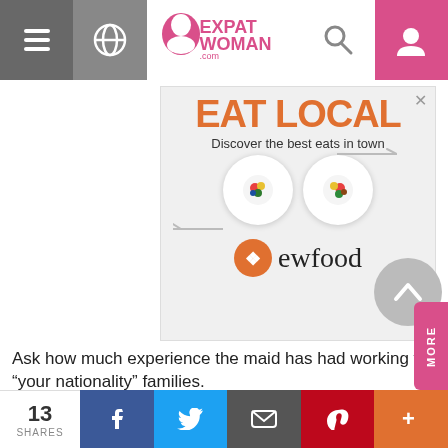ExpatWoman.com
[Figure (illustration): Advertisement banner for EWfood: 'EAT LOCAL - Discover the best eats in town' with two plates of food and the ewfood logo]
Ask how much experience the maid has had working for “your nationality” families.
If she's never worked for an expat before she may well be hard working (eg. used to strict discipline) but you may
13 SHARES | Facebook | Twitter | Email | Pinterest | More